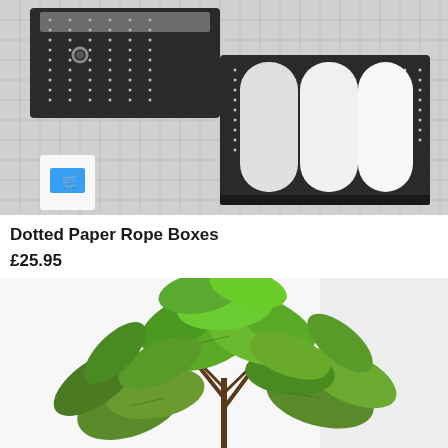[Figure (photo): Dark woven/paper rope storage boxes with dotted stripe pattern, open to show folded white towels/linens inside, placed on a checkered fabric background. A small shopping cart icon is visible on the fabric.]
Dotted Paper Rope Boxes
£25.95
[Figure (photo): Green leafy plant (appears to be a fiddle-leaf fig or similar houseplant) with dark stems, photographed against a white/light background.]